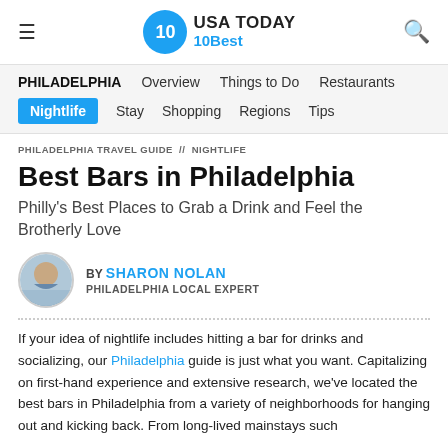USA TODAY 10Best
PHILADELPHIA  Overview  Things to Do  Restaurants  Nightlife  Stay  Shopping  Regions  Tips
PHILADELPHIA TRAVEL GUIDE // NIGHTLIFE
Best Bars in Philadelphia
Philly's Best Places to Grab a Drink and Feel the Brotherly Love
BY SHARON NOLAN PHILADELPHIA LOCAL EXPERT
If your idea of nightlife includes hitting a bar for drinks and socializing, our Philadelphia guide is just what you want. Capitalizing on first-hand experience and extensive research, we've located the best bars in Philadelphia from a variety of neighborhoods for hanging out and kicking back. From long-lived mainstays such